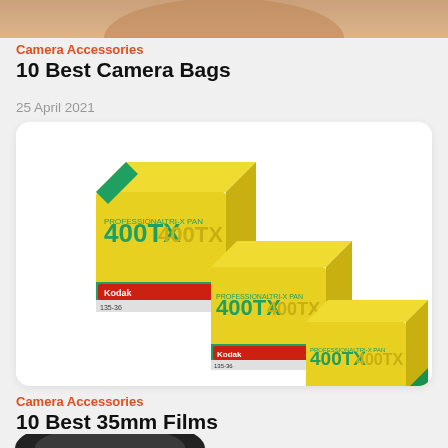[Figure (photo): Partial image of a camera bag or brown leather item, cropped at top of page]
Camera Accessories
10 Best Camera Bags
25 April 2021
[Figure (photo): Three Kodak 400TX film boxes arranged in a diagonal staircase pattern on white background]
Camera Accessories
10 Best 35mm Films
21 April 2021
[Figure (photo): Partial image of a camera lens, cropped at bottom of page]